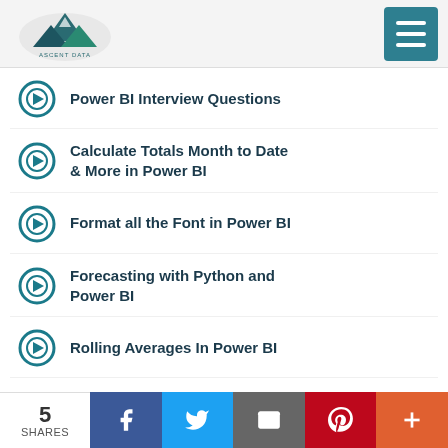Ascent Data — navigation menu header
Power BI Interview Questions
Calculate Totals Month to Date & More in Power BI
Format all the Font in Power BI
Forecasting with Python and Power BI
Rolling Averages In Power BI
5 SHARES — Facebook, Twitter, Email, Pinterest, More